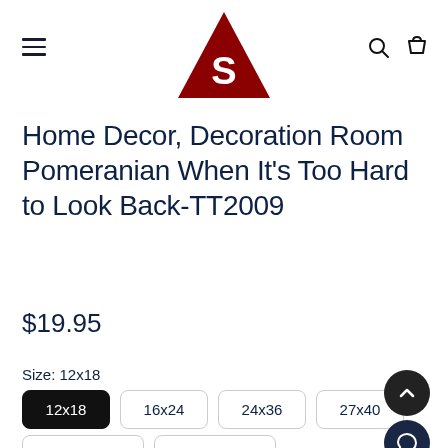[Figure (logo): Dark red triangle logo with white letter S inside, centered at top of page]
Home Decor, Decoration Room Pomeranian When It's Too Hard to Look Back-TT2009
$19.95
Size: 12x18
12x18 | 16x24 | 24x36 | 27x40